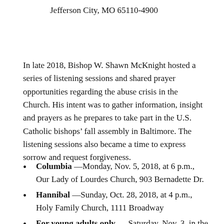Jefferson City, MO 65110-4900
In late 2018, Bishop W. Shawn McKnight hosted a series of listening sessions and shared prayer opportunities regarding the abuse crisis in the Church. His intent was to gather information, insight and prayers as he prepares to take part in the U.S. Catholic bishops’ fall assembly in Baltimore. The listening sessions also became a time to express sorrow and request forgiveness.
Columbia —Monday, Nov. 5, 2018, at 6 p.m., Our Lady of Lourdes Church, 903 Bernadette Dr.
Hannibal —Sunday, Oct. 28, 2018, at 4 p.m., Holy Family Church, 1111 Broadway
For young adults only — Saturday, Nov. 3, in the